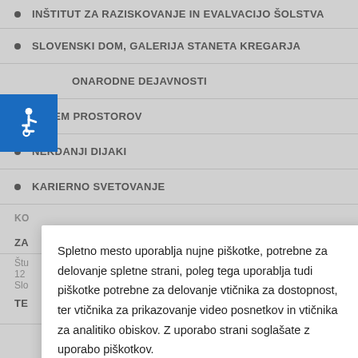INSTITUT ZA RAZISKOVANJE IN EVALVACIJO ŠOLSTVA
SLOVENSKI DOM, GALERIJA STANETA KREGARJA
ONARODNE DEJAVNOSTI
NAJEM PROSTOROV
NEKDANJI DIJAKI
KARIERNO SVETOVANJE
[Figure (illustration): Blue accessibility icon showing wheelchair user on blue background]
Spletno mesto uporablja nujne piškotke, potrebne za delovanje spletne strani, poleg tega uporablja tudi piškotke potrebne za delovanje vtičnika za dostopnost, ter vtičnika za prikazovanje video posnetkov in vtičnika za analitiko obiskov. Z uporabo strani soglašate z uporabo piškotkov.
Zavrni
Nastavitve
Potrdi
[Figure (infographic): Footer social media icons: email, RSS, Instagram, Pinterest, Twitter]